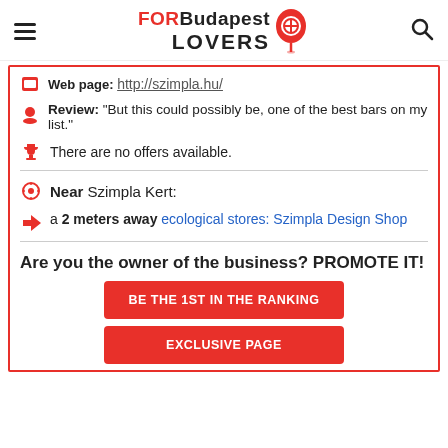FORBudapest LOVERS
Web page: http://szimpla.hu/
Review: "But this could possibly be, one of the best bars on my list."
There are no offers available.
Near Szimpla Kert:
a 2 meters away ecological stores: Szimpla Design Shop
Are you the owner of the business? PROMOTE IT!
BE THE 1ST IN THE RANKING
EXCLUSIVE PAGE